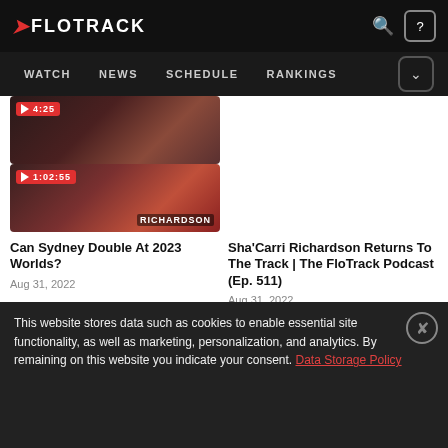FLOTRACK — WATCH  NEWS  SCHEDULE  RANKINGS
[Figure (screenshot): Thumbnail of track athlete, duration 4:25]
[Figure (screenshot): Thumbnail of Sha'Carri Richardson, duration 1:02:55]
Can Sydney Double At 2023 Worlds?
Aug 31, 2022
Sha'Carri Richardson Returns To The Track | The FloTrack Podcast (Ep. 511)
Aug 31, 2022
[Figure (photo): Track athlete photo thumbnail]
[Figure (photo): Track athlete night event photo thumbnail]
This website stores data such as cookies to enable essential site functionality, as well as marketing, personalization, and analytics. By remaining on this website you indicate your consent. Data Storage Policy